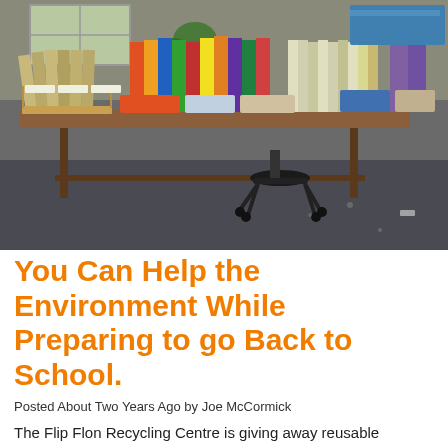[Figure (photo): Interior of a recycling centre room with tables holding rows of spiral-bound notebooks, folders and binders in various colors organized in cardboard and plastic holders, with a concrete floor visible in the background.]
You Can Help the Environment While Preparing to go Back to School.
Posted About Two Years Ago by Joe McCormick
The Flip Flon Recycling Centre is giving away reusable